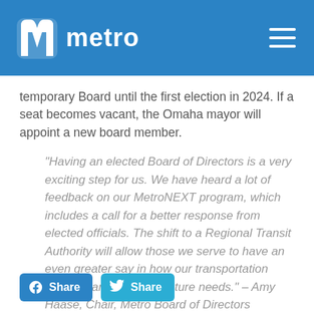metro
temporary Board until the first election in 2024. If a seat becomes vacant, the Omaha mayor will appoint a new board member.
“Having an elected Board of Directors is a very exciting step for us. We have heard a lot of feedback on our MetroNEXT program, which includes a call for a better response from elected officials. The shift to a Regional Transit Authority will allow those we serve to have an even greater say in how our transportation system can meet their future needs.” – Amy Haase, Chair, Metro Board of Directors